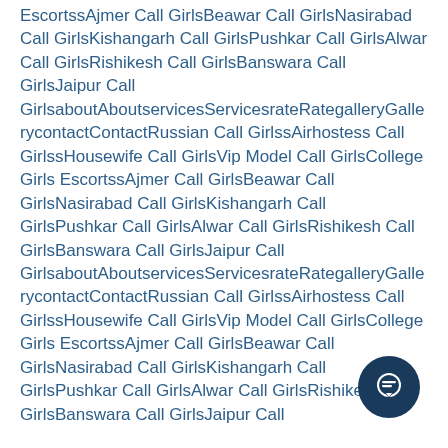EscortssAjmer Call GirlsBeawar Call GirlsNasirabad Call GirlsKishangarh Call GirlsPushkar Call GirlsAlwar Call GirlsRishikesh Call GirlsBanswara Call GirlsJaipur Call GirlsaboutAboutservicesServicesrateRategalleryGallerycontactContactRussian Call GirlssAirhostess Call GirlssHousewife Call GirlsVip Model Call GirlsCollege Girls EscortssAjmer Call GirlsBeawar Call GirlsNasirabad Call GirlsKishangarh Call GirlsPushkar Call GirlsAlwar Call GirlsRishikesh Call GirlsBanswara Call GirlsJaipur Call GirlsaboutAboutservicesServicesrateRategalleryGallerycontactContactRussian Call GirlssAirhostess Call GirlssHousewife Call GirlsVip Model Call GirlsCollege Girls EscortssAjmer Call GirlsBeawar Call GirlsNasirabad Call GirlsKishangarh Call GirlsPushkar Call GirlsAlwar Call GirlsRishikesh Call GirlsBanswara Call GirlsJaipur Call